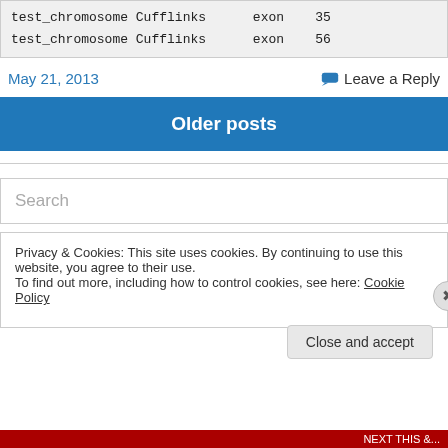test_chromosome Cufflinks    exon   35
test_chromosome Cufflinks    exon   56
May 21, 2013
Leave a Reply
Older posts
Search
Privacy & Cookies: This site uses cookies. By continuing to use this website, you agree to their use.
To find out more, including how to control cookies, see here: Cookie Policy
Close and accept